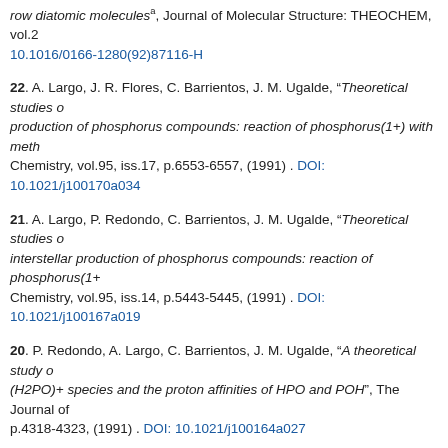row diatomic molecules", Journal of Molecular Structure: THEOCHEM, vol.25. 10.1016/0166-1280(92)87116-H
22. A. Largo, J. R. Flores, C. Barrientos, J. M. Ugalde, “Theoretical studies o... production of phosphorus compounds: reaction of phosphorus(1+) with meth... Chemistry, vol.95, iss.17, p.6553-6557, (1991) . DOI: 10.1021/j100170a034
21. A. Largo, P. Redondo, C. Barrientos, J. M. Ugalde, “Theoretical studies o... interstellar production of phosphorus compounds: reaction of phosphorus(1+... Chemistry, vol.95, iss.14, p.5443-5445, (1991) . DOI: 10.1021/j100167a019
20. P. Redondo, A. Largo, C. Barrientos, J. M. Ugalde, “A theoretical study o... (H2PO)+ species and the proton affinities of HPO and POH", The Journal of... p.4318-4323, (1991) . DOI: 10.1021/j100164a027
19. A. Largo, J. R. Flores, C. Barrientos, J. M. Ugalde, “Theoretical studies o... interstellar production of phosphorus compounds: reaction of phosphorus(1+... Physical Chemistry, vol.95, iss.1, p.170-175, (1991) . DOI: 10.1021/j100154a...
18. J. M. Ugalde, C. Sarasola, L. Dominguez, R. J. Boyd, “The evaluation of... densities and related probability functions in terms of Gaussian basis functio... Chemistry, vol.6, iss.1, p.51-61, (1991) . DOI: 10.1007/BF01192573
17. C. Sarasola, F. P. Casso, J. M. Ugalde, “Conformations and charge distri...